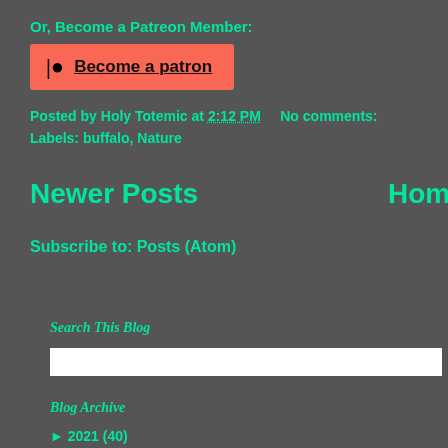Or, Become a Patreon Member:
[Figure (other): Patreon button with logo icon and text 'Become a patron' on red/coral background]
Posted by Holy Totemic at 2:12 PM    No comments:
Labels: buffalo, Nature
Newer Posts
Home
Subscribe to: Posts (Atom)
Search This Blog
Blog Archive
► 2021 (40)
► 2020 (145)